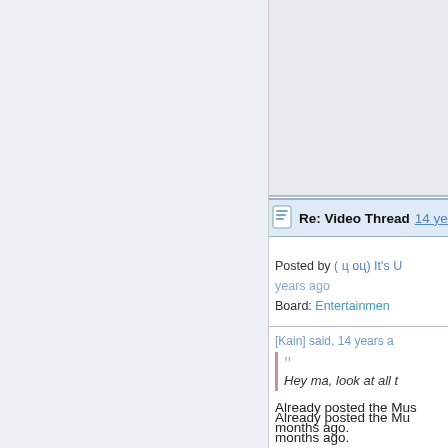Re: Video Thread  14 ye...
Posted by ( ф oф) It's U... years ago
Board: Entertainment
[Kain] said, 14 years a...
Hey ma, look at all t...
Already posted the Mu... months ago.
White Len (Me) vs Suz...